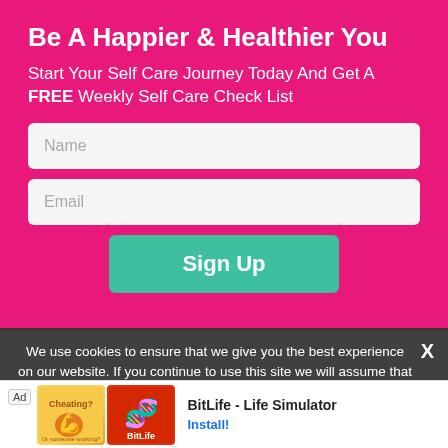Be A Happier & Healthier You
Start Your Self Care Journey Today And Get A FREE Weekly Self Care Check List
[Figure (screenshot): Name input field placeholder]
[Figure (screenshot): Email input field placeholder]
[Figure (screenshot): Sign Up button in teal/green color]
We use cookies to ensure that we give you the best experience on our website. If you continue to use this site we will assume that you are happy with it.
[Figure (screenshot): Ad banner: BitLife - Life Simulator with Install button]